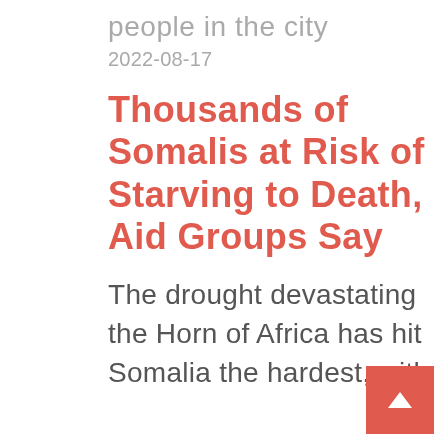people in the city
2022-08-17
Thousands of Somalis at Risk of Starving to Death, Aid Groups Say
The drought devastating the Horn of Africa has hit Somalia the hardest, with